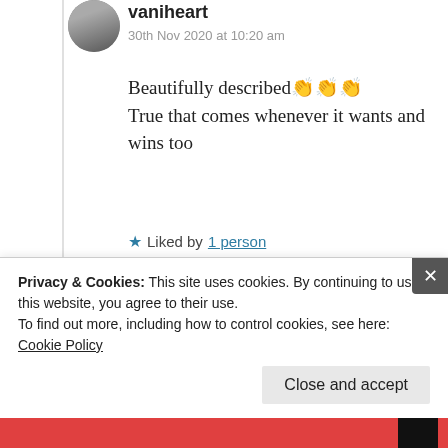vaniheart
30th Nov 2020 at 10:20 am
Beautifully described👏👏👏
True that comes whenever it wants and wins too
★ Liked by 1 person
↳ Reply
Privacy & Cookies: This site uses cookies. By continuing to use this website, you agree to their use.
To find out more, including how to control cookies, see here: Cookie Policy
Close and accept